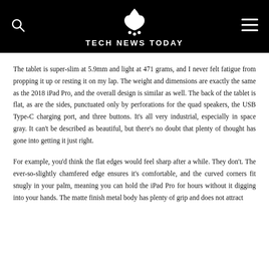TECH NEWS TODAY
The tablet is super-slim at 5.9mm and light at 471 grams, and I never felt fatigue from propping it up or resting it on my lap. The weight and dimensions are exactly the same as the 2018 iPad Pro, and the overall design is similar as well. The back of the tablet is flat, as are the sides, punctuated only by perforations for the quad speakers, the USB Type-C charging port, and three buttons. It’s all very industrial, especially in space gray. It can’t be described as beautiful, but there’s no doubt that plenty of thought has gone into getting it just right.
For example, you’d think the flat edges would feel sharp after a while. They don’t. The ever-so-slightly chamfered edge ensures it’s comfortable, and the curved corners fit snugly in your palm, meaning you can hold the iPad Pro for hours without it digging into your hands. The matte finish metal body has plenty of grip and does not attract